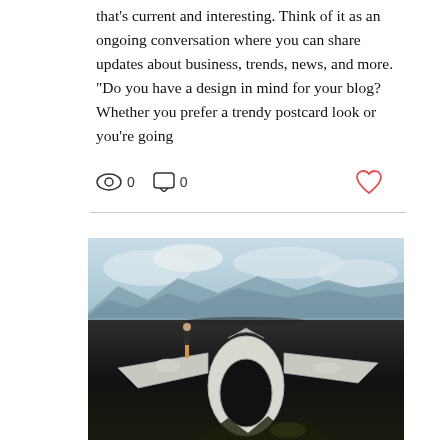that's current and interesting. Think of it as an ongoing conversation where you can share updates about business, trends, news, and more. "Do you have a design in mind for your blog? Whether you prefer a trendy postcard look or you're going
[Figure (photo): Photo of a person standing on a wrecked airplane fuselage on a dark volcanic beach, with mountains and cloudy sky in the background.]